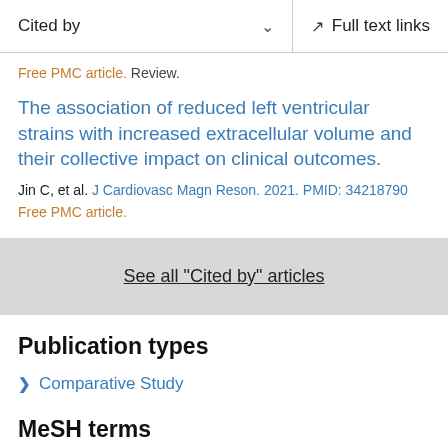Cited by   Full text links
Free PMC article. Review.
The association of reduced left ventricular strains with increased extracellular volume and their collective impact on clinical outcomes.
Jin C, et al. J Cardiovasc Magn Reson. 2021. PMID: 34218790
Free PMC article.
See all "Cited by" articles
Publication types
Comparative Study
MeSH terms